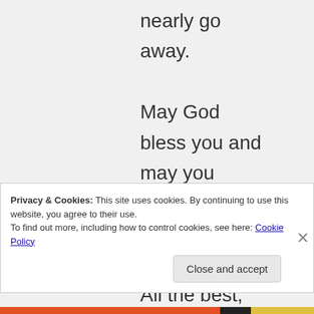nearly go away.

May God bless you and may you overcome such scaring condition.

All the best, my friend
Privacy & Cookies: This site uses cookies. By continuing to use this website, you agree to their use.
To find out more, including how to control cookies, see here: Cookie Policy